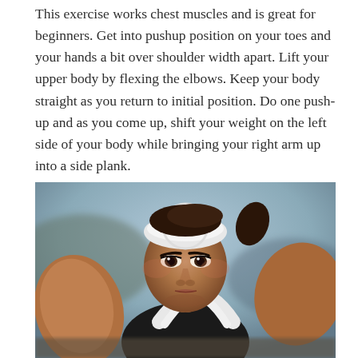This exercise works chest muscles and is great for beginners. Get into pushup position on your toes and your hands a bit over shoulder width apart. Lift your upper body by flexing the elbows. Keep your body straight as you return to initial position. Do one push-up and as you come up, shift your weight on the left side of your body while bringing your right arm up into a side plank.
[Figure (photo): A woman in a black sports top and white headband photographed from above in a push-up position, looking directly into the camera with an intense expression. The background is blurred outdoor scenery.]